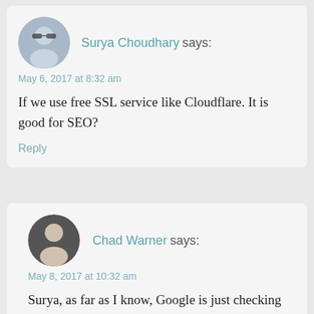Surya Choudhary says:
May 6, 2017 at 8:32 am
If we use free SSL service like Cloudflare. It is good for SEO?
Reply
Chad Warner says:
May 8, 2017 at 10:32 am
Surya, as far as I know, Google is just checking whether pages use